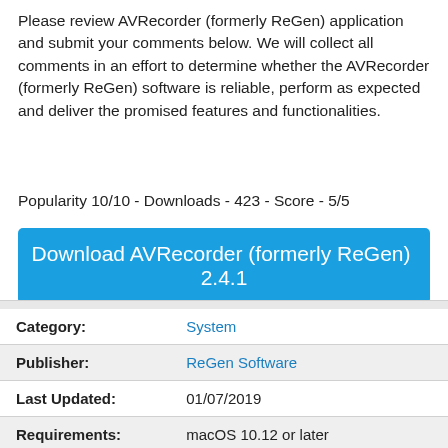Please review AVRecorder (formerly ReGen) application and submit your comments below. We will collect all comments in an effort to determine whether the AVRecorder (formerly ReGen) software is reliable, perform as expected and deliver the promised features and functionalities.
Popularity 10/10 - Downloads - 423 - Score - 5/5
Download AVRecorder (formerly ReGen)  2.4.1
|  |  |
| --- | --- |
| Category: | System |
| Publisher: | ReGen Software |
| Last Updated: | 01/07/2019 |
| Requirements: | macOS 10.12 or later |